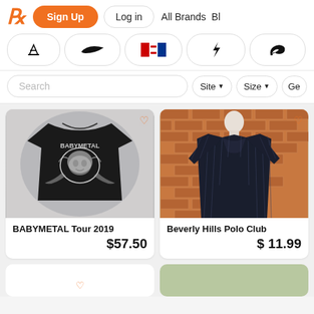R Sign Up  Log in  All Brands  Bl
[Figure (screenshot): Brand logo pills row: Adidas, Nike, Tommy Hilfiger, unknown lightning bolt brand, Puma]
[Figure (screenshot): Search bar with Site, Size, Ge filter buttons]
[Figure (photo): BABYMETAL Tour 2019 black graphic t-shirt with skull design]
BABYMETAL Tour 2019
$57.50
[Figure (photo): Beverly Hills Polo Club dark striped long sleeve shirt on mannequin against brick wall]
Beverly Hills Polo Club
$ 11.99